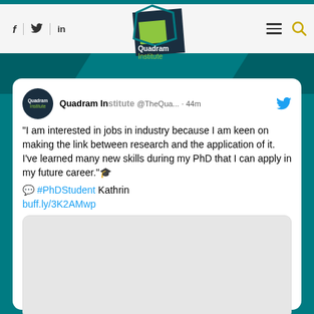[Figure (screenshot): Screenshot of a website showing the Quadram Institute webpage with navigation bar including social media icons (Facebook, Twitter, LinkedIn), the Quadram Institute logo, hamburger menu and search icons. Below is a teal background with a Twitter/X post embedded in a white card. The tweet is from Quadram Institute (@TheQua...) posted 44 minutes ago, quoting a PhD student named Kathrin: 'I am interested in jobs in industry because I am keen on making the link between research and the application of it. I've learned many new skills during my PhD that I can apply in my future career.' with graduation cap emoji, speech bubble emoji, #PhDStudent hashtag, and a link buff.ly/3K2AMwp. Below the tweet text is an embedded image placeholder (grey rounded rectangle).]